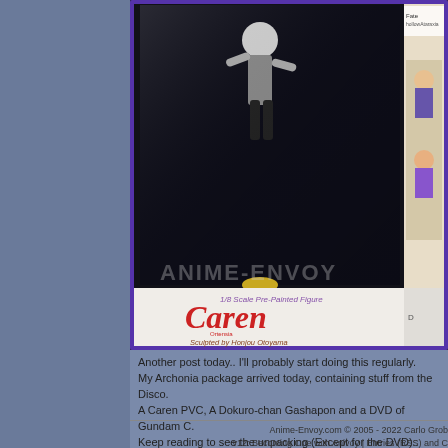[Figure (photo): Photo of a Caren 1/8 Scale Pre-Painted PVC figure in its packaging box. The box has a purple border, displays the figure inside clear plastic, with 'Caren' written in large red letters, '1/8 Scale Pre-Painted Figure' text above, 'Sculpted by Honjou Otoyama' below, and anime artwork on the right side. A watermark reading 'ANIME-ENVOY' is visible across the bottom.]
Another post today.. I'll probably start doing this regularly. My Archonia package arrived today, containing stuff from the Disco. A Caren PVC, A Dokuro-chan Gashapon and a DVD of Gundam C. Keep reading to see the unpacking (Except for the DVD)..
Read the rest of this e
Anime-Envoy.com © 2005 - 2022 Carlo Grob
v12: Becoming One with Anivoy | Entries (RSS) and C